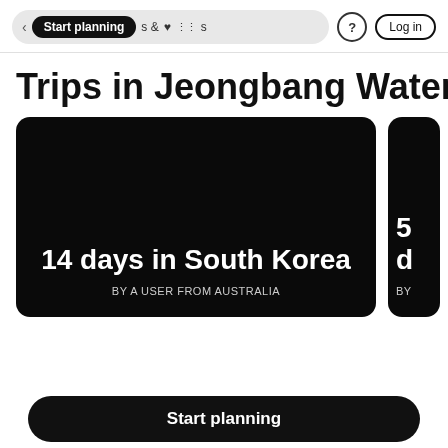Start planning | & | Activities | ? | Log in
Trips in Jeongbang Waterfall
[Figure (screenshot): Card showing '14 days in South Korea' by a user from Australia on dark background]
[Figure (screenshot): Partially visible card showing '5 d...' on dark background]
Start planning